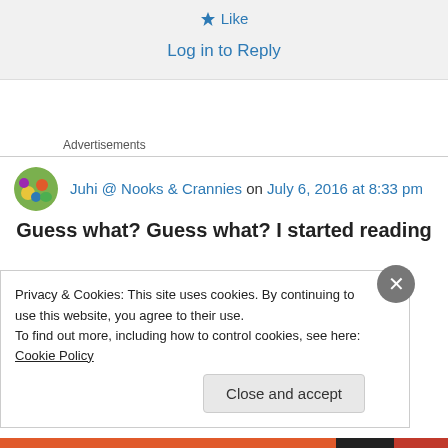★ Like
Log in to Reply
Advertisements
Juhi @ Nooks & Crannies on July 6, 2016 at 8:33 pm
Guess what? Guess what? I started reading
Privacy & Cookies: This site uses cookies. By continuing to use this website, you agree to their use.
To find out more, including how to control cookies, see here: Cookie Policy
Close and accept